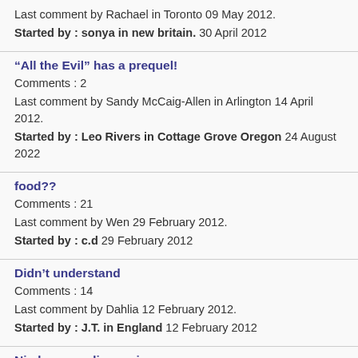Last comment by Rachael in Toronto 09 May 2012. Started by : sonya in new britain. 30 April 2012
“All the Evil” has a prequel! Comments : 2 Last comment by Sandy McCaig-Allen in Arlington 14 April 2012. Started by : Leo Rivers in Cottage Grove Oregon 24 August 2022
food?? Comments : 21 Last comment by Wen 29 February 2012. Started by : c.d 29 February 2012
Didn't understand Comments : 14 Last comment by Dahlia 12 February 2012. Started by : J.T. in England 12 February 2012
Niedermans diagnosis Comments : 4 Last comment by V in Maryland 12 February 2012. Started by : Sandra in Cleveland 12 February 2012